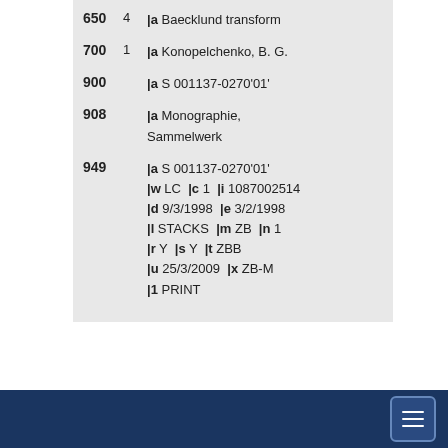| 650 | 4 | |a Baecklund transform |
| 700 | 1 | |a Konopelchenko, B. G. |
| 900 |  | |a S 001137-0270'01' |
| 908 |  | |a Monographie, Sammelwerk |
| 949 |  | |a S 001137-0270'01' |w LC |c 1 |i 1087002514 |d 9/3/1998 |e 3/2/1998 |l STACKS |m ZB |n 1 |r Y |s Y |t ZBB |u 25/3/2009 |x ZB-M |1 PRINT |